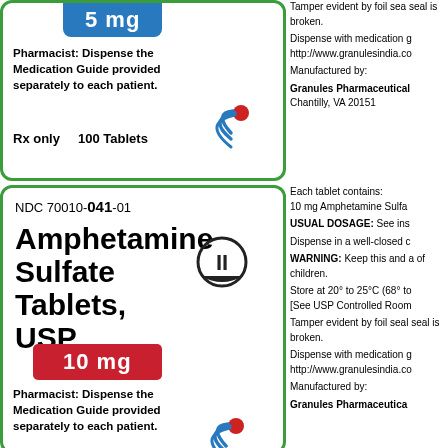5 mg
Pharmacist: Dispense the Medication Guide provided separately to each patient.
Rx only    100 Tablets
Tamper evident by foil seal is broken. Dispense with medication g http://www.granulesindia.co Manufactured by: Granules Pharmaceutical Chantilly, VA 20151
NDC 70010-041-01
Amphetamine Sulfate Tablets, USP
10 mg
Pharmacist: Dispense the Medication Guide provided separately to each patient.
Each tablet contains: 10 mg Amphetamine Sulfa USUAL DOSAGE: See ins Dispense in a well-closed c WARNING: Keep this and all of children. Store at 20° to 25°C (68° to [See USP Controlled Room Tamper evident by foil seal seal is broken. Dispense with medication g http://www.granulesindia.co Manufactured by: Granules Pharmaceutica